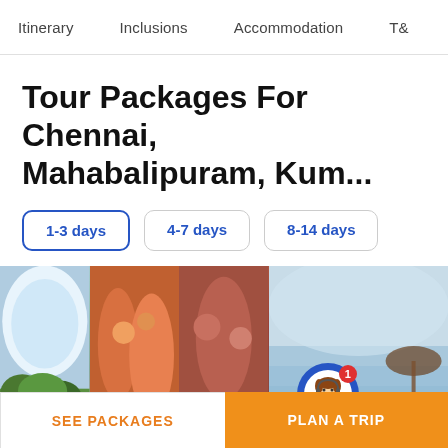Itinerary   Inclusions   Accommodation   T&
Tour Packages For Chennai, Mahabalipuram, Kum...
1-3 days
4-7 days
8-14 days
[Figure (photo): Three travel destination photos showing scenic landscape, cultural festival with people in colorful attire, and a beach scene with umbrella. A chat support avatar with notification badge is overlaid on the right photo.]
SEE PACKAGES
PLAN A TRIP